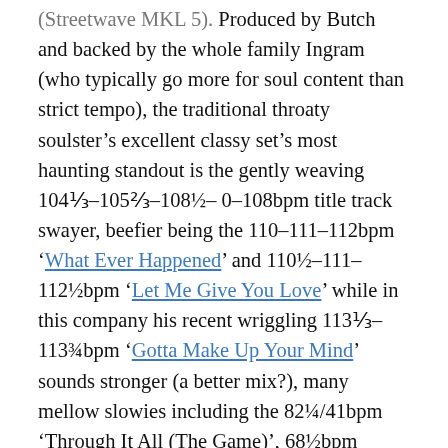(Streetwave MKL 5). Produced by Butch and backed by the whole family Ingram (who typically go more for soul content than strict tempo), the traditional throaty soulster’s excellent classy set’s most haunting standout is the gently weaving 104⅓-105⅔-108½- 0-108bpm title track swayer, beefier being the 110-111-112bpm ‘What Ever Happened’ and 110½-111-112½bpm ‘Let Me Give You Love’ while in this company his recent wriggling 113⅓- 113½bpm ‘Gotta Make Up Your Mind’ sounds stronger (a better mix?), many mellow slowies including the 82¼/41bpm ‘Through It All (The Game)’, 68½bpm ‘After All’, 74bpm ‘I Love You’, 69-0bpm ‘Rediscover’, 62bpm ‘Spend Some Time’.